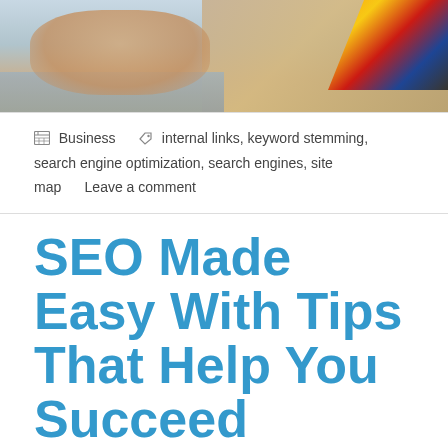[Figure (photo): Cropped top portion of a photo showing a hand holding a smartphone/tablet with colorful display, with a laptop keyboard visible in background]
Business    internal links, keyword stemming, search engine optimization, search engines, site map    Leave a comment
SEO Made Easy With Tips That Help You Succeed
October 3, 2019    Virgil Peterson